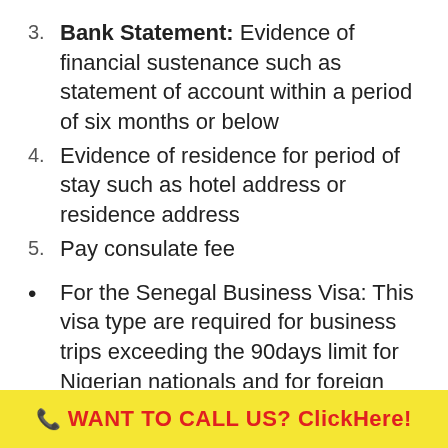3. Bank Statement: Evidence of financial sustenance such as statement of account within a period of six months or below
4. Evidence of residence for period of stay such as hotel address or residence address
5. Pay consulate fee
• For the Senegal Business Visa: This visa type are required for business trips exceeding the 90days limit for Nigerian nationals and for foreign national looking to take a business trip from within Nigeria to Senegal. The following documents are required from the
📞 WANT TO CALL US? ClickHere!